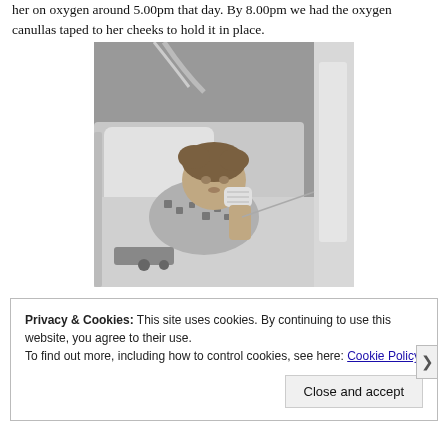her on oxygen around 5.00pm that day. By 8.00pm we had the oxygen canullas taped to her cheeks to hold it in place.
[Figure (photo): Black and white photo of a young child lying in a hospital bed with medical equipment, wearing a patterned top and with bandaged hand near her mouth]
Privacy & Cookies: This site uses cookies. By continuing to use this website, you agree to their use.
To find out more, including how to control cookies, see here: Cookie Policy